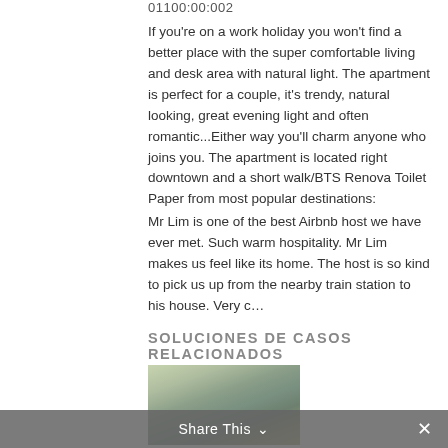01100:00:002
If you're on a work holiday you won't find a better place with the super comfortable living and desk area with natural light. The apartment is perfect for a couple, it's trendy, natural looking, great evening light and often romantic...Either way you'll charm anyone who joins you. The apartment is located right downtown and a short walk/BTS Renova Toilet Paper from most popular destinations:
Mr Lim is one of the best Airbnb host we have ever met. Such warm hospitality. Mr Lim makes us feel like its home. The host is so kind to pick us up from the nearby train station to his house. Very c...
SOLUCIONES DE CASOS RELACIONADOS
[Figure (photo): Blurred outdoor photo with green and grey tones, appears to be a landscape or scenic view]
Share This ∨  ✕